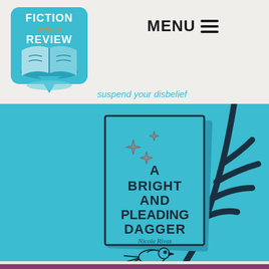[Figure (logo): Fiction Writers Review logo: blue rounded square with open book graphic and text FICTION writers REVIEW]
MENU ≡
suspend your disbelief
[Figure (photo): Book cover for 'A Bright and Pleading Dagger' by Nicole Rivas on teal background, with decorative bird illustration and branch element]